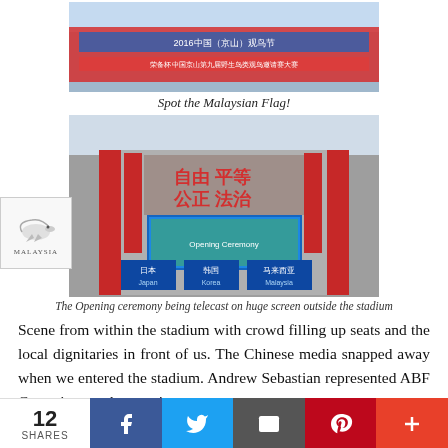[Figure (photo): Photo of a large billboard/banner with Chinese text for a 2016 event, with a Malaysian flag visible]
Spot the Malaysian Flag!
[Figure (photo): The Opening ceremony being telecast on huge screen outside the stadium, showing Chinese characters on a large building facade with signs for Japan, Korea, and Malaysia]
The Opening ceremony being telecast on huge screen outside the stadium
Scene from within the stadium with crowd filling up seats and the local dignitaries in front of us. The Chinese media snapped away when we entered the stadium. Andrew Sebastian represented ABF Committee at the opening
12 SHARES  f  t  envelope  p  +